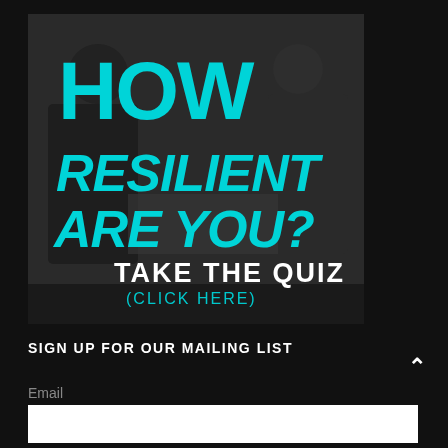[Figure (screenshot): Dark background image with two people in a meeting/office setting. Large cyan/teal bold text reads 'HOW RESILIENT ARE YOU?' with white text below reading 'TAKE THE QUIZ (CLICK HERE)']
SIGN UP FOR OUR MAILING LIST
Email